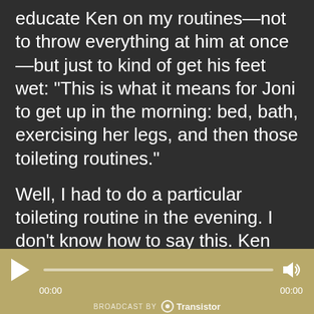educate Ken on my routines—not to throw everything at him at once—but just to kind of get his feet wet: “This is what it means for Joni to get up in the morning: bed, bath, exercising her legs, and then those toileting routines.”

Well, I had to do a particular toileting routine in the evening. I don’t know how to say this. Ken had to help carry me to the bathroom. I didn’t make it. When that happened—it’s funny—I choke up, talking about it now, 30 years later. Yet, it’s so long ago and far away—but I was the young girl. I wanted everything to be
[Figure (other): Audio player bar with play button, progress bar, time labels (00:00 on left and right), volume icon, and 'BROADCAST BY Transistor' branding on a tan/gold background.]